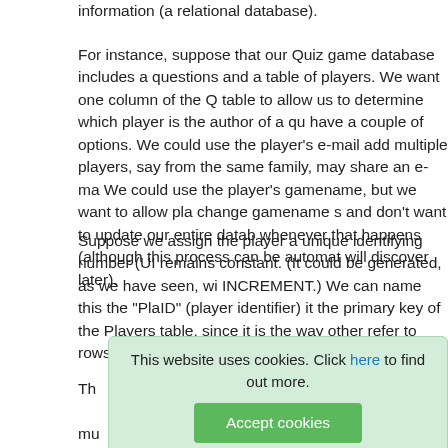information (a relational database).
For instance, suppose that our Quiz game database includes a questions and a table of players. We want one column of the Q table to allow us to determine which player is the author of a qu have a couple of options. We could use the player's e-mail add multiple players, say from the same family, may share an e-ma We could use the player's gamename, but we want to allow pla change gamename s and don't want to update our entire datab whenever that happens (although this process can be automat will discover later).
Suppose we assign the player a unique identifying number (UI remains constant. (It could be generated, as we have seen, wi INCREMENT.) We can name this the "PlaID" (player identifier) it the primary key of the Players table, since it is the way other refer to rows within the table.
Th... ce the p mu... identify as UNIQUE allows the SQL engine to consider it an alternate...